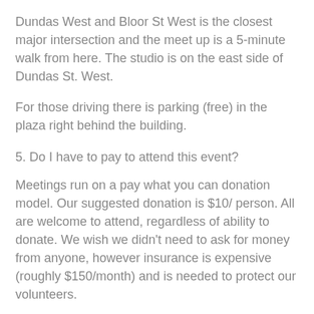Dundas West and Bloor St West is the closest major intersection and the meet up is a 5-minute walk from here. The studio is on the east side of Dundas St. West.
For those driving there is parking (free) in the plaza right behind the building.
5. Do I have to pay to attend this event?
Meetings run on a pay what you can donation model. Our suggested donation is $10/ person. All are welcome to attend, regardless of ability to donate. We wish we didn't need to ask for money from anyone, however insurance is expensive (roughly $150/month) and is needed to protect our volunteers.
6. Do I have to bring my printed ticket to the event?